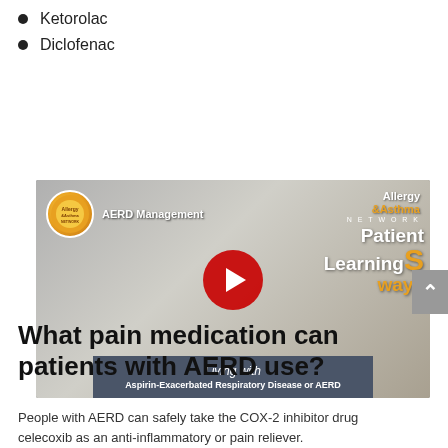Ketorolac
Diclofenac
[Figure (screenshot): YouTube video thumbnail for 'AERD Management' from Allergy & Asthma Network Patient Learning pathways channel, showing a play button overlay. Bottom banner reads 'Living with Aspirin-Exacerbated Respiratory Disease or AERD'.]
What pain medication can patients with AERD use?
People with AERD can safely take the COX-2 inhibitor drug celecoxib as an anti-inflammatory or pain reliever.